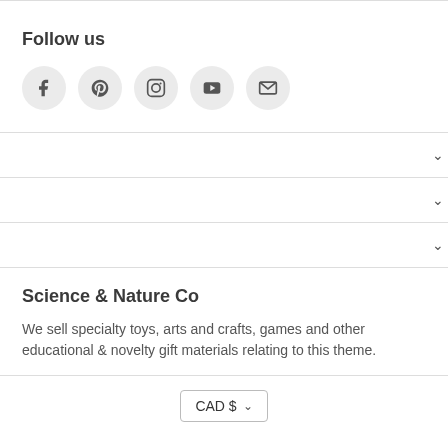Follow us
[Figure (infographic): Five social media icon buttons in circles: Facebook (f), Pinterest, Instagram, YouTube, Email/envelope]
Science & Nature Co
We sell specialty toys, arts and crafts, games and other educational & novelty gift materials relating to this theme.
CAD $